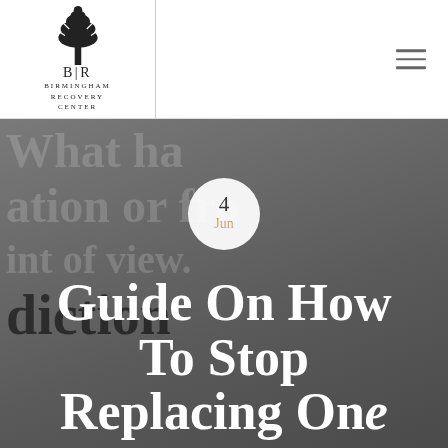[Figure (logo): Birmingham Recovery Center logo with tree illustration and text]
Guide On How To Stop Replacing One
4 Jun